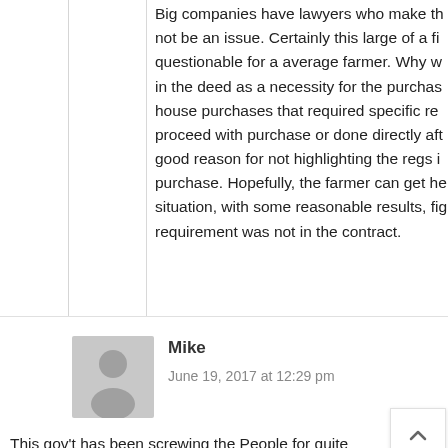Big companies have lawyers who make th[is] not be an issue. Certainly this large of a fi[rm] questionable for a average farmer. Why w[ould] in the deed as a necessity for the purchas[e] house purchases that required specific re[quirements] proceed with purchase or done directly aft[er] good reason for not highlighting the regs i[n the] purchase. Hopefully, the farmer can get h[elp with this] situation, with some reasonable results, fi[nding] requirement was not in the contract.
[Figure (illustration): Gray avatar/person silhouette icon for commenter Mike]
Mike
June 19, 2017 at 12:29 pm
This gov't has been screwing the People for quite [a] whi[le]. May 1933. Congress passed a bill that paid farmers wh[o]...